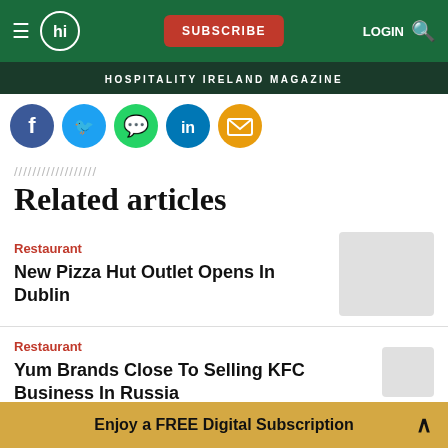SUBSCRIBE LOGIN [search]
HOSPITALITY IRELAND MAGAZINE
[Figure (infographic): Social share icons: Facebook, Twitter, WhatsApp, LinkedIn, Email]
Related articles
Restaurant
New Pizza Hut Outlet Opens In Dublin
Restaurant
Yum Brands Close To Selling KFC Business In Russia
Enjoy a FREE Digital Subscription